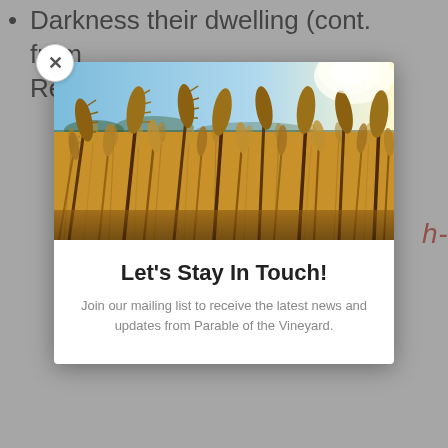Darkness their dwelling (cont. from Rev 19 – in Sheol)
h-
[Figure (photo): A wheat field with golden stalks in the foreground and a bright sunlit sky in the background, used as the header image for a mailing list signup modal.]
Let's Stay In Touch!
Join our mailing list to receive the latest news and updates from Parable of the Vineyard.